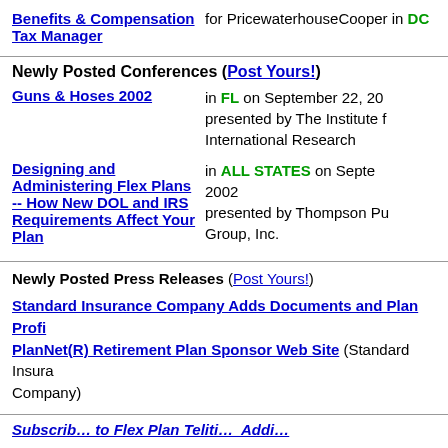Benefits & Compensation Tax Manager for PricewaterhouseCooper in DC
Newly Posted Conferences (Post Yours!)
Guns & Hoses 2002 in FL on September 22, 2002 presented by The Institute for International Research
Designing and Administering Flex Plans -- How New DOL and IRS Requirements Affect Your Plan in ALL STATES on September 2002 presented by Thompson Publishing Group, Inc.
Newly Posted Press Releases (Post Yours!)
Standard Insurance Company Adds Documents and Plan Profiles to PlanNet(R) Retirement Plan Sponsor Web Site (Standard Insurance Company)